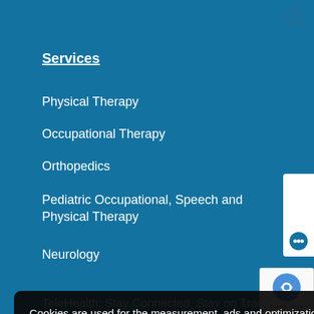[Figure (screenshot): Search icon (magnifying glass) in top right corner on blue background]
Services
Physical Therapy
Occupational Therapy
Orthopedics
Pediatric Occupational, Speech and Physical Therapy
Neurology
[Figure (screenshot): CHAT widget on right side with blue bubble icon]
Pelvic Health
Geriatric/Senior Services
Work and Industry/WorkTracks
ActiveTracks/Sports Medicine
Hand Therapy: Reach for Better
Cookies are used for the measurement, ads and optimization. By continuing to use our site you agree to our privacy policy  Learn more
Got it!
[Figure (logo): reCAPTCHA widget with Privacy - Terms text]
TeleHealth: Stay Connected, Stay on Track